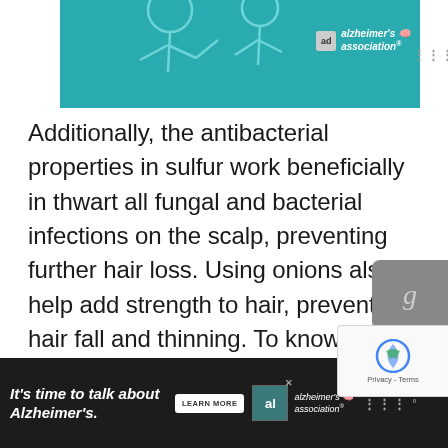[Figure (illustration): Top advertisement banner with teal background, showing a medical/caregiver illustration (two figures, one appears to be examining the other). Alzheimer's Association logo with 'ad' badge in the upper right. White sidebar with three vertical dots icon on far right.]
Additionally, the antibacterial properties in sulfur work beneficially in thwart all fungal and bacterial infections on the scalp, preventing further hair loss. Using onions also help add strength to hair, preventing hair fall and thinning. To know more about how you can use onion for hair growth and overall hair health, take a look at this guide below.
[Figure (other): Bottom advertisement banner with dark background. Text reads 'It's time to talk about Alzheimer's.' with a LEARN MORE button, Alzheimer's Association logo with 'al' box, and three dots icon on the right.]